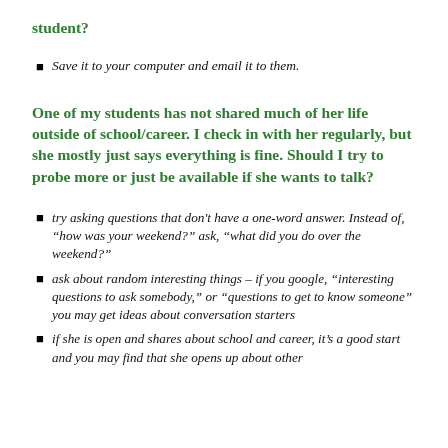student?
Save it to your computer and email it to them.
One of my students has not shared much of her life outside of school/career. I check in with her regularly, but she mostly just says everything is fine. Should I try to probe more or just be available if she wants to talk?
try asking questions that don’t have a one-word answer. Instead of, “how was your weekend?” ask, “what did you do over the weekend?”
ask about random interesting things – if you google, “interesting questions to ask somebody,” or “questions to get to know someone” you may get ideas about conversation starters
if she is open and shares about school and career, it’s a good start and you may find that she opens up about other